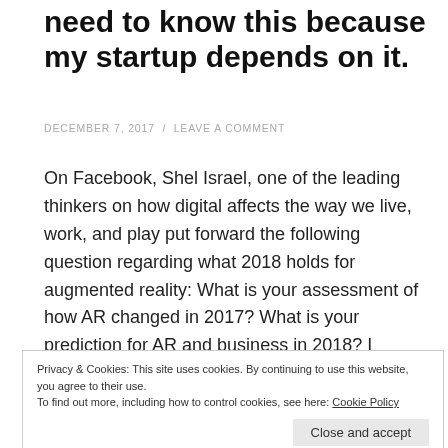need to know this because my startup depends on it.
DECEMBER 7, 2017  /  LEAVE A COMMENT
On Facebook, Shel Israel, one of the leading thinkers on how digital affects the way we live, work, and play put forward the following question regarding what 2018 holds for augmented reality: What is your assessment of how AR changed in 2017? What is your prediction for AR and business in 2018? I thought about this …
Continue reading
Privacy & Cookies: This site uses cookies. By continuing to use this website, you agree to their use.
To find out more, including how to control cookies, see here: Cookie Policy
Close and accept
Check Your Hatred at the Door